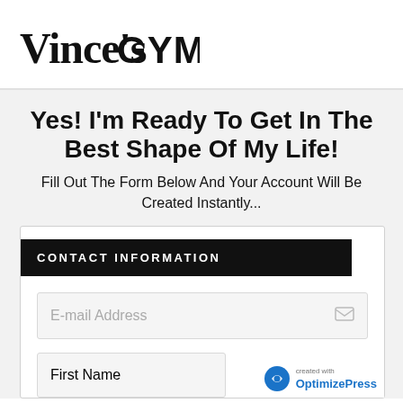[Figure (logo): Vince's GYM logo in bold handwritten and block lettering]
Yes! I'm Ready To Get In The Best Shape Of My Life!
Fill Out The Form Below And Your Account Will Be Created Instantly...
CONTACT INFORMATION
E-mail Address
First Name